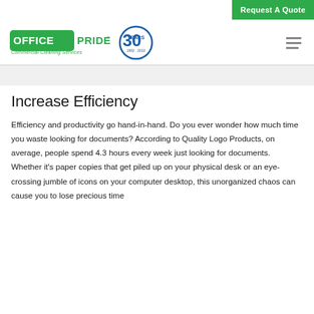Request A Quote
[Figure (logo): Office Pride Commercial Cleaning Services logo with 30 Years anniversary badge (1992-2022)]
Increase Efficiency
Efficiency and productivity go hand-in-hand. Do you ever wonder how much time you waste looking for documents? According to Quality Logo Products, on average, people spend 4.3 hours every week just looking for documents. Whether it's paper copies that get piled up on your physical desk or an eye-crossing jumble of icons on your computer desktop, this unorganized chaos can cause you to lose precious time